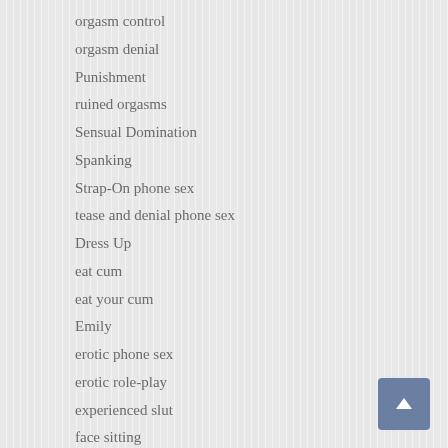orgasm control
orgasm denial
Punishment
ruined orgasms
Sensual Domination
Spanking
Strap-On phone sex
tease and denial phone sex
Dress Up
eat cum
eat your cum
Emily
erotic phone sex
erotic role-play
experienced slut
face sitting
faggot phone sex
fantasies